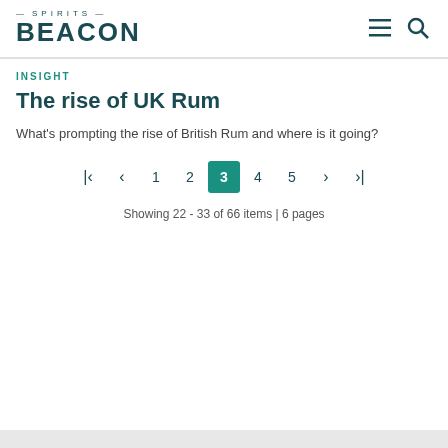SPIRITS BEACON
INSIGHT
The rise of UK Rum
What’s prompting the rise of British Rum and where is it going?
Showing 22 - 33 of 66 items | 6 pages